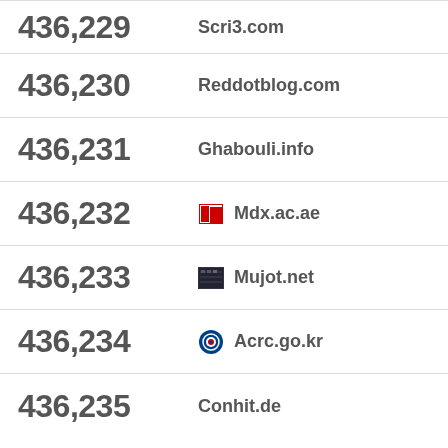436,229   Scri3.com
436,230   Reddotblog.com
436,231   Ghabouli.info
436,232   Mdx.ac.ae
436,233   Mujot.net
436,234   Acrc.go.kr
436,235   Conhit.de